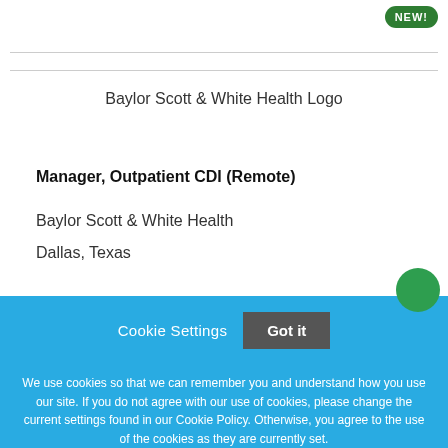[Figure (logo): NEW! badge (green rounded rectangle) in top-right corner]
[Figure (logo): Baylor Scott & White Health Logo placeholder image with alt text]
Manager, Outpatient CDI (Remote)
Baylor Scott & White Health
Dallas, Texas
Cookie Settings   Got it

We use cookies so that we can remember you and understand how you use our site. If you do not agree with our use of cookies, please change the current settings found in our Cookie Policy. Otherwise, you agree to the use of the cookies as they are currently set.